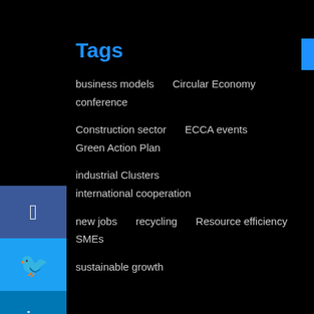Tags
business models   Circular Economy   conference
Construction sector   ECCA events   Green Action Plan
industrial Clusters   international cooperation
new jobs   recycling   Resource efficiency   SMEs
sustainable growth
| M | T | W | T | F | S | S |
| --- | --- | --- | --- | --- | --- | --- |
|  |  | 1 | 2 | 3 | 4 |  |
| 5 | 6 | 7 | 8 | 9 | 10 | 11 |
| 12 | 13 | 14 | 15 | 16 | 17 | 18 |
| 19 | 20 | 21 | 22 | 23 | 24 | 25 |
| 26 | 27 | 28 | 29 | 30 |  |  |